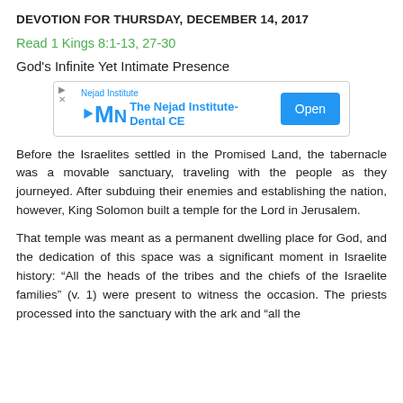DEVOTION FOR THURSDAY, DECEMBER 14, 2017
Read 1 Kings 8:1-13, 27-30
God's Infinite Yet Intimate Presence
[Figure (other): Advertisement banner for The Nejad Institute-Dental CE with an Open button]
Before the Israelites settled in the Promised Land, the tabernacle was a movable sanctuary, traveling with the people as they journeyed. After subduing their enemies and establishing the nation, however, King Solomon built a temple for the Lord in Jerusalem.
That temple was meant as a permanent dwelling place for God, and the dedication of this space was a significant moment in Israelite history: “All the heads of the tribes and the chiefs of the Israelite families” (v. 1) were present to witness the occasion. The priests processed into the sanctuary with the ark and “all the